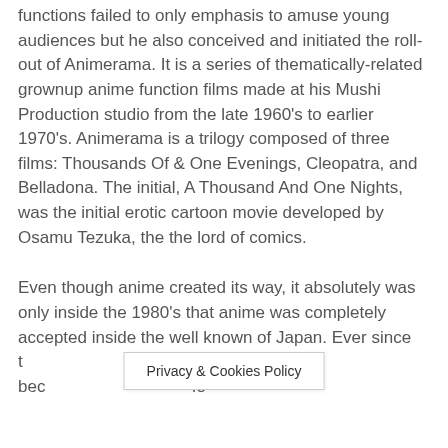functions failed to only emphasis to amuse young audiences but he also conceived and initiated the roll-out of Animerama. It is a series of thematically-related grownup anime function films made at his Mushi Production studio from the late 1960's to earlier 1970's. Animerama is a trilogy composed of three films: Thousands Of & One Evenings, Cleopatra, and Belladona. The initial, A Thousand And One Nights, was the initial erotic cartoon movie developed by Osamu Tezuka, the the lord of comics.
Even though anime created its way, it absolutely was only inside the 1980's that anime was completely accepted inside the well known of Japan. Ever since the genres emerged into bec fo